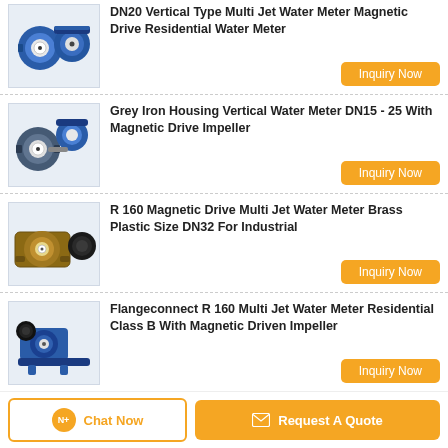[Figure (photo): Blue multi-jet water meter product photo, top partially cropped]
DN20 Vertical Type Multi Jet Water Meter Magnetic Drive Residential Water Meter
Inquiry Now
[Figure (photo): Grey iron housing vertical water meter photo]
Grey Iron Housing Vertical Water Meter DN15 - 25 With Magnetic Drive Impeller
Inquiry Now
[Figure (photo): Brass multi-jet water meter DN32 photo]
R 160 Magnetic Drive Multi Jet Water Meter Brass Plastic Size DN32 For Industrial
Inquiry Now
[Figure (photo): Flangeconnect multi-jet water meter photo]
Flangeconnect R 160 Multi Jet Water Meter Residential Class B With Magnetic Driven Impeller
Inquiry Now
[Figure (photo): Liquid seal magnetic drive multi-jet water meter photo]
Liquid Seal Magnetic Drive Multi Jet Water Meter DN20 ISO4064 For Residential
Inquiry Now
Chat Now
Request A Quote